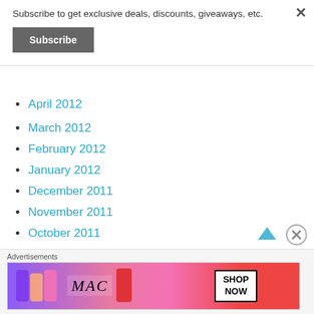Subscribe to get exclusive deals, discounts, giveaways, etc.
Subscribe
April 2012
March 2012
February 2012
January 2012
December 2011
November 2011
October 2011
September 2011
Advertisements
[Figure (other): MAC Cosmetics advertisement banner with lipsticks and SHOP NOW button]